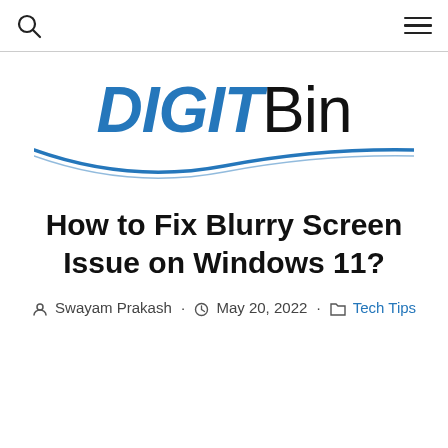DIGITBin
[Figure (logo): DIGITBin logo with blue italic DIGIT and black Bin text, with a blue curved underline]
How to Fix Blurry Screen Issue on Windows 11?
Swayam Prakash · May 20, 2022 · Tech Tips